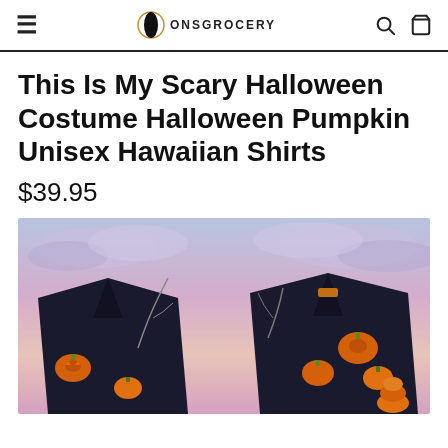ONSGROCERY
This Is My Scary Halloween Costume Halloween Pumpkin Unisex Hawaiian Shirts
$39.95
[Figure (photo): Two dark Hawaiian shirts with Halloween pumpkin pattern displayed against a twilight sky background with purple and pink clouds.]